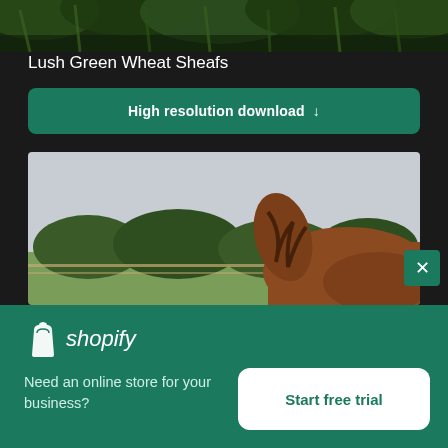[Figure (photo): Top strip of green wheat sheafs/crops photo, dark green foliage]
Lush Green Wheat Sheafs
High resolution download ↓
[Figure (photo): Photo of a brown horse in a field with trees and gray sky in background]
[Figure (logo): Shopify logo with shopping bag icon and italic shopify text on green background]
Need an online store for your business?
Start free trial